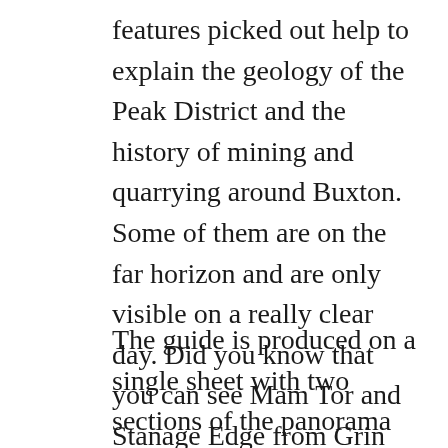features picked out help to explain the geology of the Peak District and the history of mining and quarrying around Buxton. Some of them are on the far horizon and are only visible on a really clear day. Did you know that you can see Mam Tor and Stanage Edge from Grin Low?
The guide is produced on a single sheet with two sections of the panorama on each side and can be bought flat or rolled. They are on sale at Poole's Cavern, price £2, ready to make your next visit to Solomon's Temple much